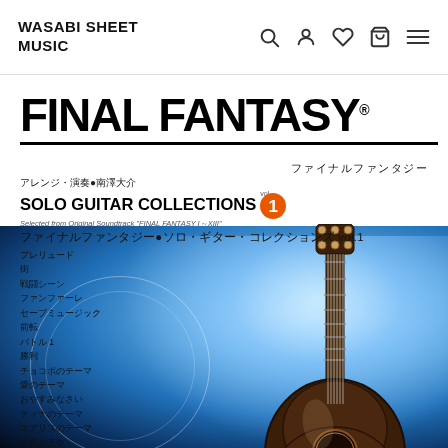WASABI SHEET MUSIC
[Figure (screenshot): Book cover for Final Fantasy Solo Guitar Collections Vol.1, featuring a guitar on a blue flame background with track listing in Japanese]
FINAL FANTASY®
ファイナルファンタジー
アレンジ・演奏●南澤大介
SOLO GUITAR COLLECTIONS vol.1
Selected from Original Soundtrack "FINAL FANTASY I～XIII"
ファイナルファンタジー●ソロ・ギター・コレクションズ vol.1
プレリュード
街
戦闘シーン
ファンファーレ
セーブミュージック
前転
バトル 1
勝利
チョコボのテーマ
愛のテーマ
おやすみなさい
ティナのテーマ
エアリスのテーマ
片翼の天使
お休み、また明日
Eyes On Me